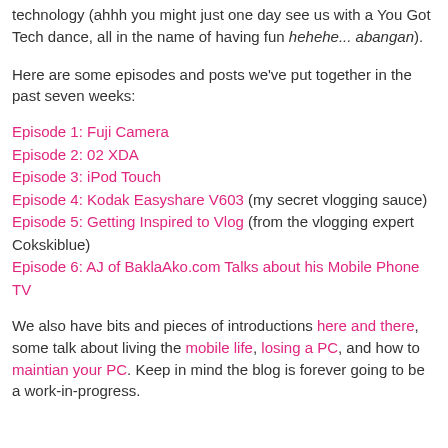technology (ahhh you might just one day see us with a You Got Tech dance, all in the name of having fun hehehe... abangan).
Here are some episodes and posts we've put together in the past seven weeks:
Episode 1: Fuji Camera
Episode 2: 02 XDA
Episode 3: iPod Touch
Episode 4: Kodak Easyshare V603 (my secret vlogging sauce)
Episode 5: Getting Inspired to Vlog (from the vlogging expert Cokskiblue)
Episode 6: AJ of BaklaAko.com Talks about his Mobile Phone TV
We also have bits and pieces of introductions here and there, some talk about living the mobile life, losing a PC, and how to maintian your PC. Keep in mind the blog is forever going to be a work-in-progress.